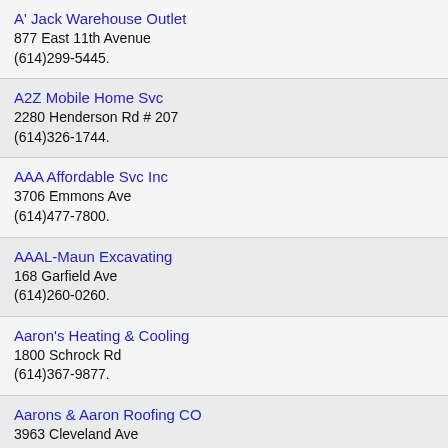A' Jack Warehouse Outlet
877 East 11th Avenue
(614)299-5445.
A2Z Mobile Home Svc
2280 Henderson Rd # 207
(614)326-1744.
AAA Affordable Svc Inc
3706 Emmons Ave
(614)477-7800.
AAAL-Maun Excavating
168 Garfield Ave
(614)260-0260.
Aaron's Heating & Cooling
1800 Schrock Rd
(614)367-9877.
Aarons & Aaron Roofing CO
3963 Cleveland Ave
(614) 337-9441.